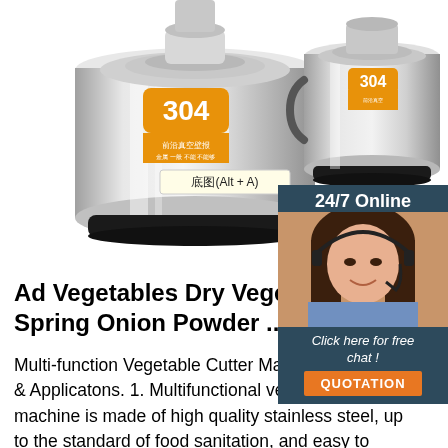[Figure (photo): Two stainless steel food grinder/thermos machines side by side with Chinese text labels and orange sticker showing '304'. Left machine has a tooltip overlay showing '底图(Alt + A)'. Right has a '304' sticker badge.]
[Figure (photo): 24/7 Online customer service panel showing a smiling woman with headset, with 'Click here for free chat!' text and an orange QUOTATION button]
Ad Vegetables Dry Vegetable Spring Onion Powder ...
Multi-function Vegetable Cutter Machine Features & Applicatons. 1. Multifunctional vegetable cutting machine is made of high quality stainless steel, up to the standard of food sanitation, and easy to clean. 2. High work
[Figure (other): Orange 'TOP' button with dotted arc above it]